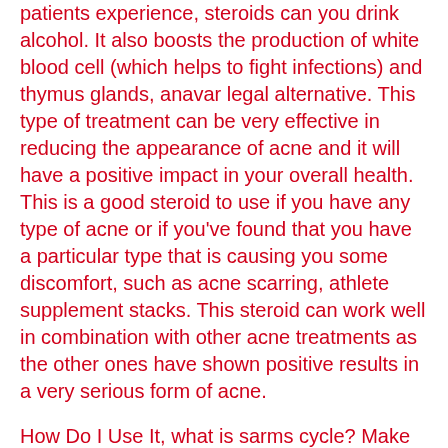patients experience, steroids can you drink alcohol. It also boosts the production of white blood cell (which helps to fight infections) and thymus glands, anavar legal alternative. This type of treatment can be very effective in reducing the appearance of acne and it will have a positive impact in your overall health. This is a good steroid to use if you have any type of acne or if you've found that you have a particular type that is causing you some discomfort, such as acne scarring, athlete supplement stacks. This steroid can work well in combination with other acne treatments as the other ones have shown positive results in a very serious form of acne.
How Do I Use It, what is sarms cycle? Make sure you understand how to get the recommended dosage of this product through the proper channels. Many